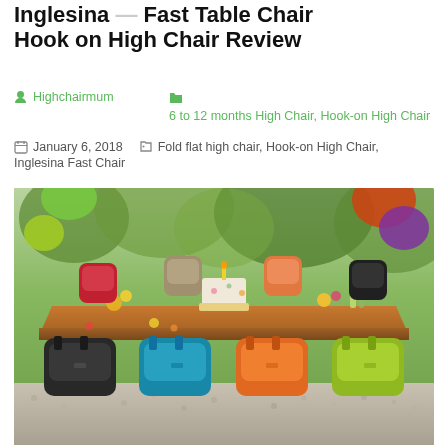Inglesina Fast Table Chair Hook on High Chair Review
Highchairmum   6 to 12 months High Chair, Hook-on High Chair
January 6, 2018   Fold flat high chair, Hook-on High Chair, Inglesina Fast Chair
[Figure (photo): Photo of Inglesina Fast Chair hook-on high chairs in multiple colors (black, red, taupe, teal, orange, lime/yellow-green) attached to a wooden outdoor dining table set for a birthday party, with garden background and colorful paper flower decorations.]